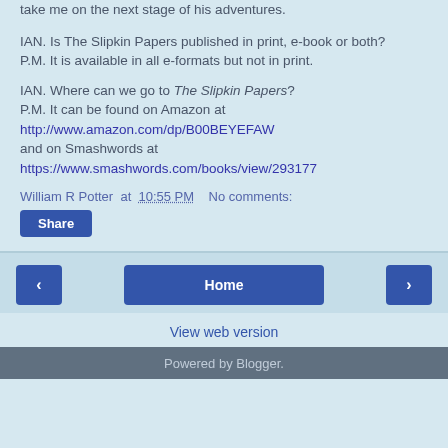take me on the next stage of his adventures.
IAN. Is The Slipkin Papers published in print, e-book or both?
P.M. It is available in all e-formats but not in print.
IAN. Where can we go to The Slipkin Papers?
P.M. It can be found on Amazon at http://www.amazon.com/dp/B00BEYEFAW and on Smashwords at https://www.smashwords.com/books/view/293177
William R Potter at 10:55 PM   No comments:
Share
‹  Home  ›  View web version
Powered by Blogger.